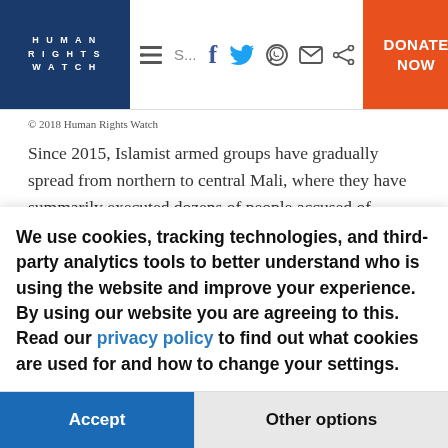HUMAN RIGHTS WATCH | navigation icons | DONATE NOW
© 2018 Human Rights Watch
Since 2015, Islamist armed groups have gradually spread from northern to central Mali, where they have summarily executed dozens of people accused of collaborating with government security forces; indiscriminately planted
We use cookies, tracking technologies, and third-party analytics tools to better understand who is using the website and improve your experience. By using our website you are agreeing to this. Read our privacy policy to find out what cookies are used for and how to change your settings.
Accept | Other options